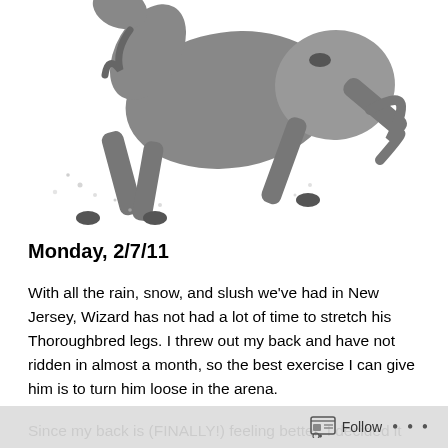[Figure (photo): Black and white photo of a horse (Thoroughbred) running or jumping, partially cropped at the top, showing the horse's body and legs in motion against a white background with some snow or dust.]
Monday, 2/7/11
With all the rain, snow, and slush we've had in New Jersey, Wizard has not had a lot of time to stretch his Thoroughbred legs. I threw out my back and have not ridden in almost a month, so the best exercise I can give him is to turn him loose in the arena.
Since my back is (FINALLY!) feeling better, I decided it was time to get back in the saddle. Before I rode, I turned
Follow